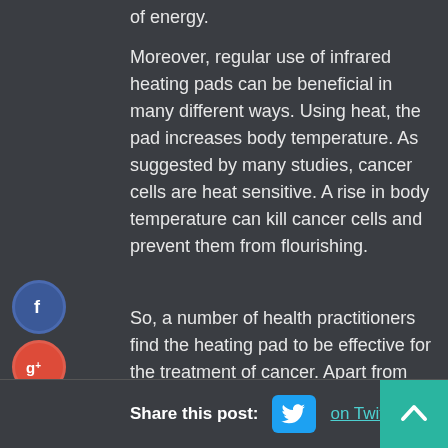of energy.
Moreover, regular use of infrared heating pads can be beneficial in many different ways. Using heat, the pad increases body temperature. As suggested by many studies, cancer cells are heat sensitive. A rise in body temperature can kill cancer cells and prevent them from flourishing.
So, a number of health practitioners find the heating pad to be effective for the treatment of cancer. Apart from this, thousands of spa technicians, sports trainers, physical therapists, health experts and chiropractors use it as a drug-free, hands-on solution to a number of health problems
Share this post: on Twitter